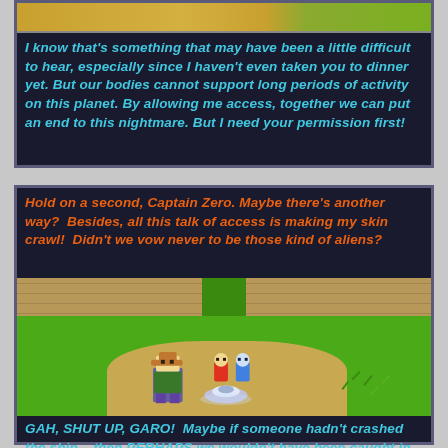[Figure (screenshot): Top dialogue panel from a video game. Dark blue background with a sandy/green landscape image strip at top. Cyan italic bold text reads: 'I know that's something that may have been a little difficult to hear, especially since I haven't even taken you to dinner yet. But our bodies cannot support long periods of activity on this planet. By allowing me access, together we can put an end to this nightmare. But I need your permission first!']
[Figure (screenshot): Bottom composite panel. Top portion shows orange italic bold text: 'Hold on a second, Captain Zero. Maybe there's another way? Besides, all this talk of access is making my skin crawl! Didn't we vow never to be those kind of aliens?' Middle portion shows a top-down RPG game scene with two large stone/dirt block walls on either side, a grassy area with sandy path, and pixel art characters including a main character in a hat, a red figure, a blue figure, and a flying saucer on the ground. Bottom portion shows cyan italic bold text: 'GAH, SHUT UP, GARO! Maybe if someone hadn't crashed the ship... then PERHAPS we wouldn't have been caught in this predicament. You think I want to enter a 10 year']